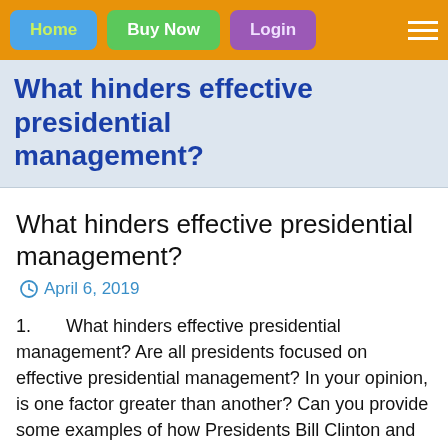Home | Buy Now | Login
What hinders effective presidential management?
What hinders effective presidential management?
April 6, 2019
1. What hinders effective presidential management? Are all presidents focused on effective presidential management? In your opinion, is one factor greater than another? Can you provide some examples of how Presidents Bill Clinton and George W. Bush were effective presidential managers?